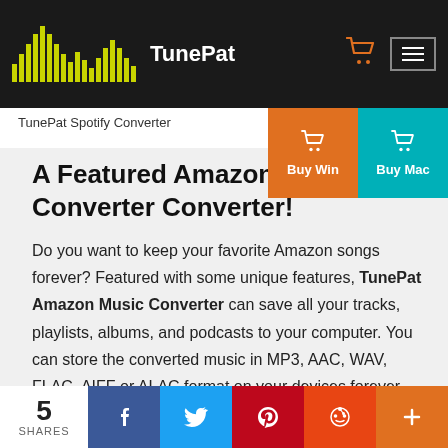TunePat
TunePat Spotify Converter
A Featured Amazon Music Converter Converter!
Do you want to keep your favorite Amazon songs forever? Featured with some unique features, TunePat Amazon Music Converter can save all your tracks, playlists, albums, and podcasts to your computer. You can store the converted music in MP3, AAC, WAV, FLAC, AIFF or ALAC format on your devices forever. Give it
5 SHARES | Facebook | Twitter | Pinterest | Reddit | More